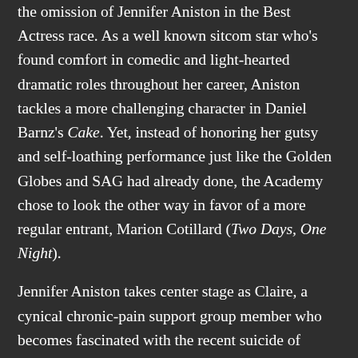the omission of Jennifer Aniston in the Best Actress race. As a well known sitcom star who's found comfort in comedic and light-hearted dramatic roles throughout her career, Aniston tackles a more challenging character in Daniel Barnz's Cake. Yet, instead of honoring her gutsy and self-loathing performance just like the Golden Globes and SAG had already done, the Academy chose to look the other way in favor of a more regular entrant, Marion Cotillard (Two Days, One Night).
Jennifer Aniston takes center stage as Claire, a cynical chronic-pain support group member who becomes fascinated with the recent suicide of another attendee, Nina (played by Anna Kendrick). As Claire continues her habitual abuse of pain killers in an attempt to numb herself of a traumatic past event, she finds herself on the doorstep of Nina's surviving husband, Roy (Sam Worthington).